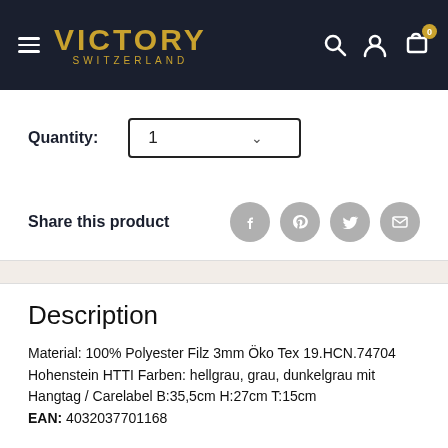[Figure (logo): Victory Switzerland logo on dark navy header with hamburger menu on left and search, user, cart icons on right]
Quantity: 1
Share this product
Description
Material: 100% Polyester Filz 3mm Öko Tex 19.HCN.74704 Hohenstein HTTI Farben: hellgrau, grau, dunkelgrau mit Hangtag / Carelabel B:35,5cm H:27cm T:15cm
EAN: 4032037701168